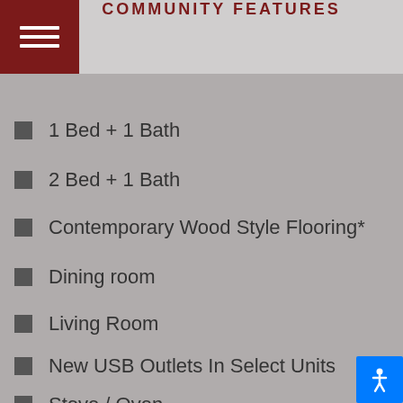COMMUNITY FEATURES
1 Bed + 1 Bath
2 Bed + 1 Bath
Contemporary Wood Style Flooring*
Dining room
Living Room
New USB Outlets In Select Units
Stove / Oven